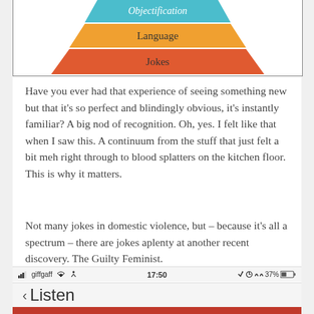[Figure (infographic): Bottom portion of a pyramid diagram showing layers: Objectification (blue, top visible), Language (orange), Jokes (red-orange, base)]
Have you ever had that experience of seeing something new but that it's so perfect and blindingly obvious, it's instantly familiar? A big nod of recognition. Oh, yes. I felt like that when I saw this. A continuum from the stuff that just felt a bit meh right through to blood splatters on the kitchen floor. This is why it matters.
Not many jokes in domestic violence, but – because it's all a spectrum – there are jokes aplenty at another recent discovery. The Guilty Feminist.
giffgaff  17:50  37%  < Listen